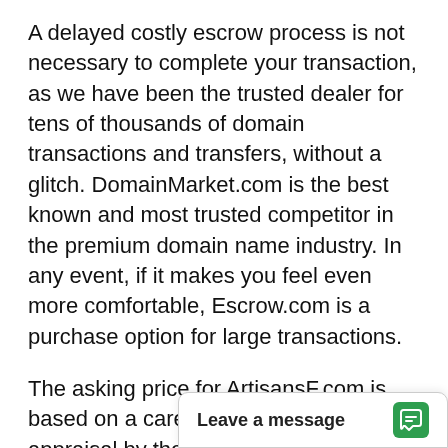A delayed costly escrow process is not necessary to complete your transaction, as we have been the trusted dealer for tens of thousands of domain transactions and transfers, without a glitch. DomainMarket.com is the best known and most trusted competitor in the premium domain name industry. In any event, if it makes you feel even more comfortable, Escrow.com is a purchase option for large transactions.
The asking price for ArtisansF.com is based on a careful and professional appraisal by the world's leading experts on domain valuations, the inventors of ecommerce for premium domains. The price is explicitly certified to be fair by real experts, so the buyer can be confident in the great long-term value and investment oppo[rtunity represented by the] asset in question.